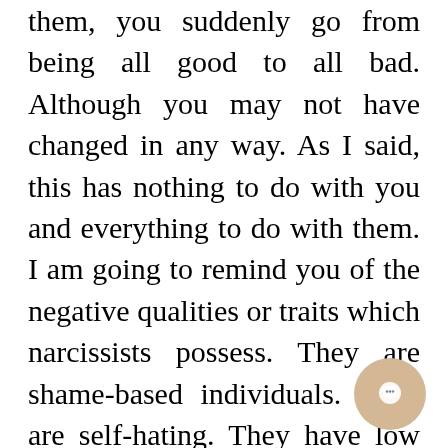them, you suddenly go from being all good to all bad. Although you may not have changed in any way. As I said, this has nothing to do with you and everything to do with them. I am going to remind you of the negative qualities or traits which narcissists possess. They are shame-based individuals. They are self-hating. They have low self worth, low self esteem, low self assurance, low self belief and low self respect. They are very insecure and have an inferiority complex. Now connect these negative qualities or traits to how they feel once they realise that you are interested in them or that you love them. Once they become aware that you are interested in them or